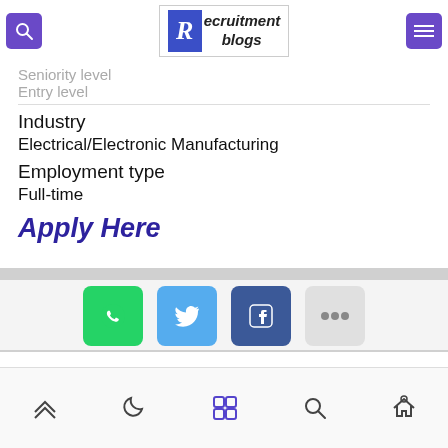Seniority level / Entry level — Recruitment blogs
Seniority level
Entry level
Industry
Electrical/Electronic Manufacturing
Employment type
Full-time
Apply Here
[Figure (infographic): Social share buttons: WhatsApp (green), Twitter (blue), Facebook (dark blue), More (gray)]
Bottom navigation bar with icons: up arrow, moon, grid, search, home